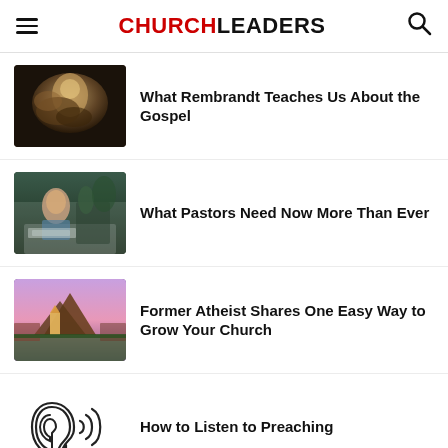CHURCHLEADERS
What Rembrandt Teaches Us About the Gospel
What Pastors Need Now More Than Ever
Former Atheist Shares One Easy Way to Grow Your Church
How to Listen to Preaching